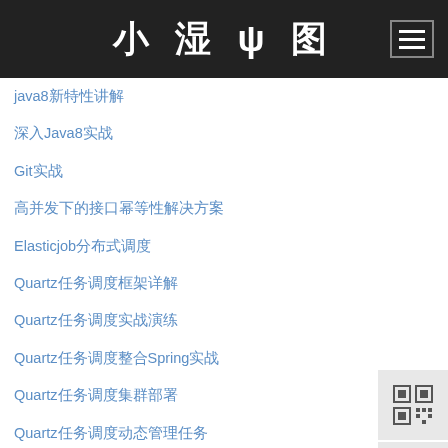小湿ψ图 [navigation header with hamburger menu]
java8新特性讲解
深入Java8实战
Git实战
高并发下的接口幂等性解决方案
Elasticjob分布式调度
Quartz任务调度框架详解
Quartz任务调度实战演练
Quartz任务调度整合Spring实战
Quartz任务调度集群部署
Quartz任务调度动态管理任务
Quartz任务调度监听器
Quartz任务调度
Quartz任务调度